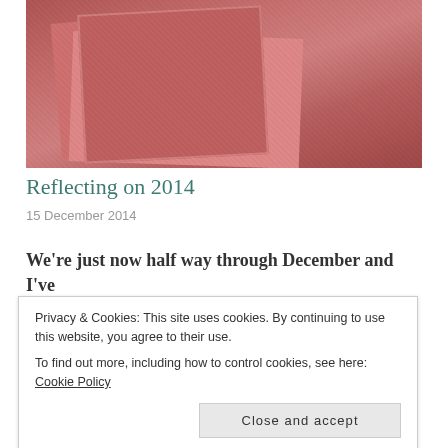[Figure (photo): Photo of a pink/red handmade card or envelope with ruffled/knitted edges on a dark surface, with other cards or papers visible.]
Reflecting on 2014
15 December 2014
We're just now half way through December and I've
Privacy & Cookies: This site uses cookies. By continuing to use this website, you agree to their use.
To find out more, including how to control cookies, see here: Cookie Policy
Close and accept
looking forward.